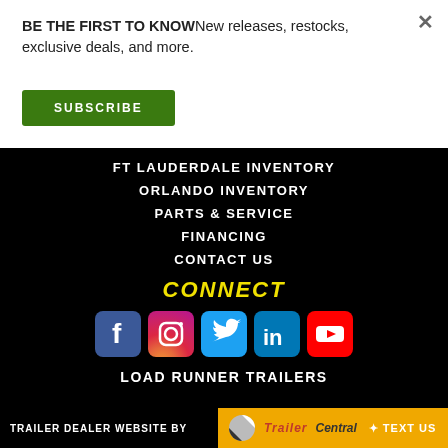BE THE FIRST TO KNOWNew releases, restocks, exclusive deals, and more.
SUBSCRIBE
FT LAUDERDALE INVENTORY
ORLANDO INVENTORY
PARTS & SERVICE
FINANCING
CONTACT US
CONNECT
[Figure (infographic): Social media icons: Facebook, Instagram, Twitter, LinkedIn, YouTube]
LOAD RUNNER TRAILERS
TRAILER DEALER WEBSITE BY TrailerCentral | TEXT US